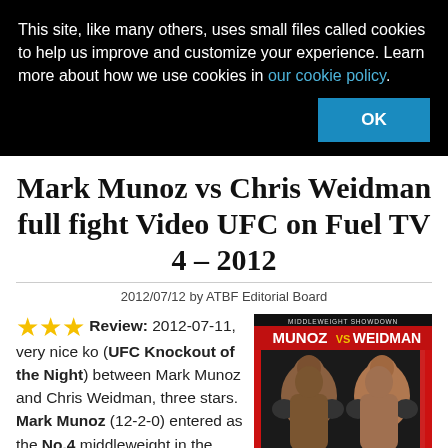This site, like many others, uses small files called cookies to help us improve and customize your experience. Learn more about how we use cookies in our cookie policy.
OK
Mark Munoz vs Chris Weidman full fight Video UFC on Fuel TV 4 – 2012
2012/07/12 by ATBF Editorial Board
★★★ Review: 2012-07-11, very nice ko (UFC Knockout of the Night) between Mark Munoz and Chris Weidman, three stars. Mark Munoz (12-2-0) entered as the No.4 middleweight in the world while the undefeated
[Figure (photo): Promotional fight poster for Munoz vs Weidman middleweight showdown UFC on Fuel TV 4, showing both fighters in fighting stance]
CLOSE